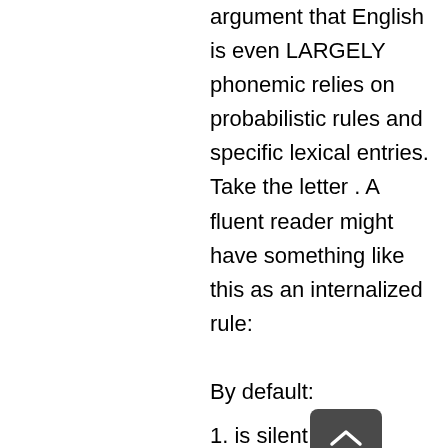argument that English is even LARGELY phonemic relies on probabilistic rules and specific lexical entries. Take the letter . A fluent reader might have something like this as an internalized rule:

By default:
1. is silent in the frame , where is not